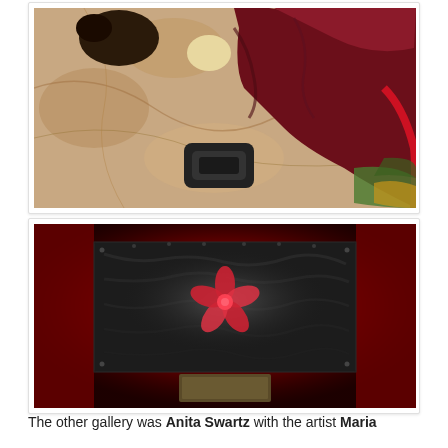[Figure (photo): Photo of objects on a marble-patterned floor including dark clothing/fabric in burgundy/maroon color, a black buckle/clip, and colorful items in the background]
[Figure (photo): Photo of an artwork on a red wall — a dark textured canvas/panel with a red flower or hibiscus shape in the center, displayed in a dimly lit gallery space with a small pedestal visible below]
The other gallery was Anita Swartz with the artist Maria